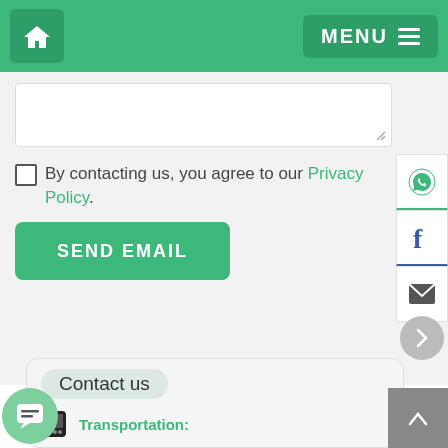Home | MENU
By contacting us, you agree to our Privacy Policy.
SEND EMAIL
[Figure (screenshot): Social media sidebar icons: WhatsApp, Facebook, Email]
Contact us
Transportation: